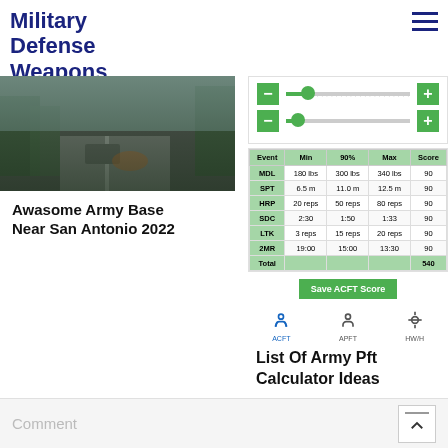Military Defense Weapons
[Figure (photo): Military road/highway scene with vehicles and trees]
Awasome Army Base Near San Antonio 2022
[Figure (screenshot): ACFT calculator interface with sliders and score table showing events: MDL, SPT, HRP, SDC, LTK, 2MR, Total with Min, 90%, Max, and Score columns]
| Event | Min | 90% | Max | Score |
| --- | --- | --- | --- | --- |
| MDL | 180 lbs | 300 lbs | 340 lbs | 90 |
| SPT | 6.5 m | 11.0 m | 12.5 m | 90 |
| HRP | 20 reps | 50 reps | 80 reps | 90 |
| SDC | 2:30 | 1:50 | 1:33 | 90 |
| LTK | 3 reps | 15 reps | 20 reps | 90 |
| 2MR | 19:00 | 15:00 | 13:30 | 90 |
| Total |  |  |  | 540 |
List Of Army Pft Calculator Ideas